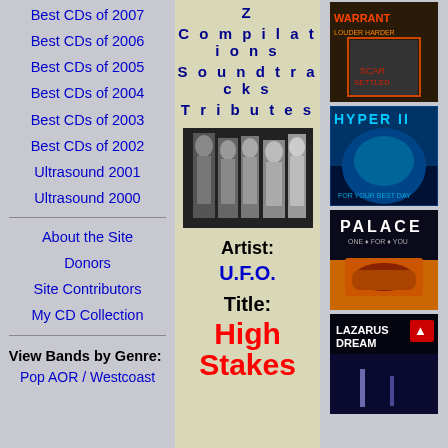Best CDs of 2007
Best CDs of 2006
Best CDs of 2005
Best CDs of 2004
Best CDs of 2003
Best CDs of 2002
Ultrasound 2001
Ultrasound 2000
About the Site
Donors
Site Contributors
My CD Collection
View Bands by Genre:
Pop AOR / Westcoast
Z
Compilations
Soundtracks
Tributes
[Figure (photo): Black and white band photo of UFO members]
Artist: U.F.O.
Title: High Stakes
[Figure (photo): Album cover - Warrant: Louder Harder Faster or similar rock album]
[Figure (photo): Album cover - Hyper II]
[Figure (photo): Album cover - Palace]
[Figure (photo): Album cover - Lazarus Dream]